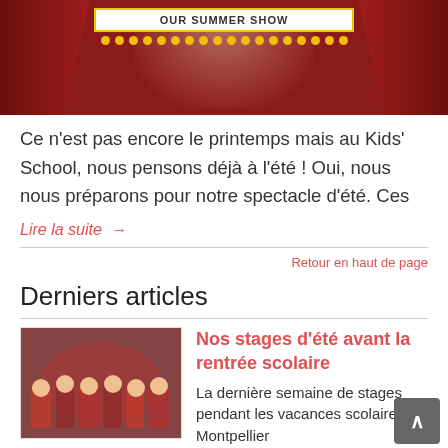[Figure (illustration): Theater stage banner with red curtains, spotlight, and a marquee sign. Yellow dots decorating the bottom of the sign area.]
Ce n'est pas encore le printemps mais au Kids' School, nous pensons déjà à l'été ! Oui, nous nous préparons pour notre spectacle d'été. Ces
Lire la suite →
Retour en haut de page
Derniers articles
[Figure (photo): Group photo of children at Kids' School, red backdrop visible]
Nos stages d'été avant la rentrée scolaire
La dernière semaine de stages pendant les vacances scolaires à Montpellier